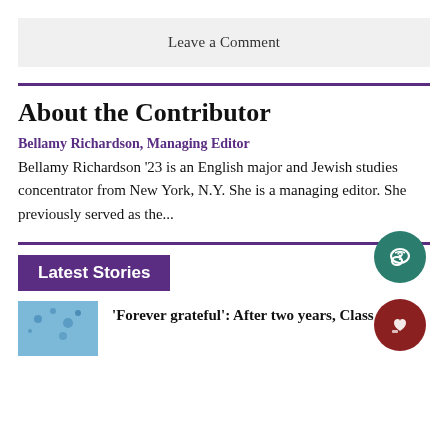Leave a Comment
About the Contributor
Bellamy Richardson, Managing Editor
Bellamy Richardson '23 is an English major and Jewish studies concentrator from New York, N.Y. She is a managing editor. She previously served as the...
Latest Stories
'Forever grateful': After two years, Class of